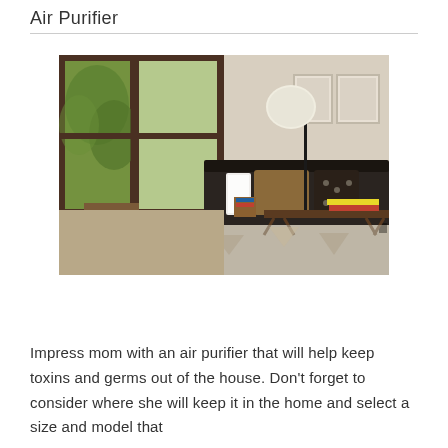Air Purifier
[Figure (photo): Interior living room scene with large floor-to-ceiling windows with wood frames showing green trees outside, a white air purifier unit on the floor, a modern arc/floor lamp with a round white shade, a dark sofa with brown and patterned cushions, a mid-century modern coffee table with books on it, framed artwork on the wall, and a geometric patterned rug on the floor.]
Impress mom with an air purifier that will help keep toxins and germs out of the house. Don’t forget to consider where she will keep it in the home and select a size and model that